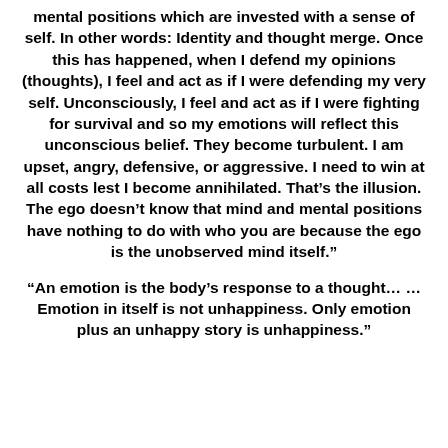mental positions which are invested with a sense of self. In other words: Identity and thought merge. Once this has happened, when I defend my opinions (thoughts), I feel and act as if I were defending my very self. Unconsciously, I feel and act as if I were fighting for survival and so my emotions will reflect this unconscious belief. They become turbulent. I am upset, angry, defensive, or aggressive. I need to win at all costs lest I become annihilated. That’s the illusion. The ego doesn’t know that mind and mental positions have nothing to do with who you are because the ego is the unobserved mind itself.”
“An emotion is the body’s response to a thought… …Emotion in itself is not unhappiness. Only emotion plus an unhappy story is unhappiness.”